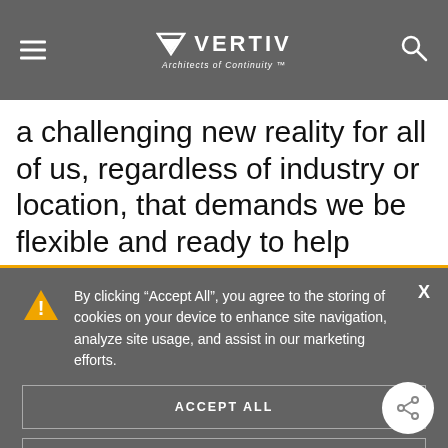VERTIV — Architects of Continuity
a challenging new reality for all of us, regardless of industry or location, that demands we be flexible and ready to help
By clicking “Accept All”, you agree to the storing of cookies on your device to enhance site navigation, analyze site usage, and assist in our marketing efforts.
ACCEPT ALL
DECLINE ALL
MANAGE COOKIES
For more information on which cookies we use, click here.